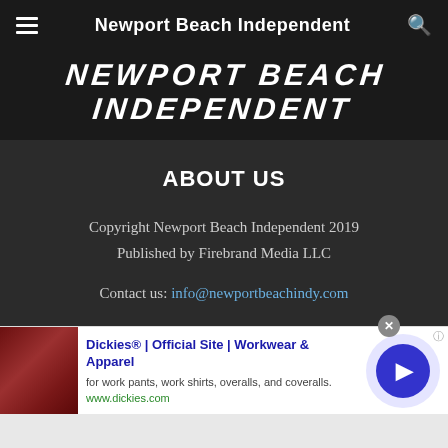Newport Beach Independent
[Figure (logo): Newport Beach Independent logo in large bold italic uppercase letters on dark background]
ABOUT US
Copyright Newport Beach Independent 2019
Published by Firebrand Media LLC
Contact us: info@newportbeachindy.com
FOLLOW US
[Figure (screenshot): Advertisement banner: Dickies Official Site Workwear & Apparel, for work pants, work shirts, overalls, and coveralls. www.dickies.com]